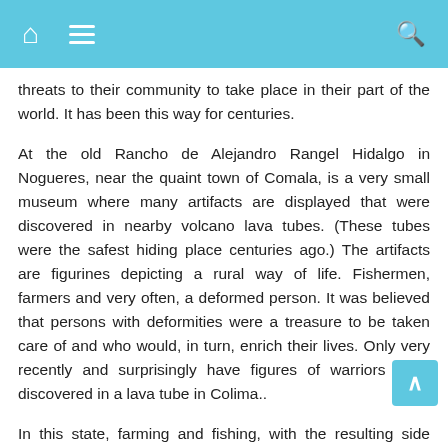[home] [menu] [search]
threats to their community to take place in their part of the world. It has been this way for centuries.
At the old Rancho de Alejandro Rangel Hidalgo in Nogueres, near the quaint town of Comala, is a very small museum where many artifacts are displayed that were discovered in nearby volcano lava tubes. (These tubes were the safest hiding place centuries ago.) The artifacts are figurines depicting a rural way of life. Fishermen, farmers and very often, a deformed person. It was believed that persons with deformities were a treasure to be taken care of and who would, in turn, enrich their lives. Only very recently and surprisingly have figures of warriors been discovered in a lava tube in Colima..
In this state, farming and fishing, with the resulting side industries, have taken precedence over manufacturing. The large port of Manzanillo has been an incredible and very important boost to the state economy with the education of children becoming considered of